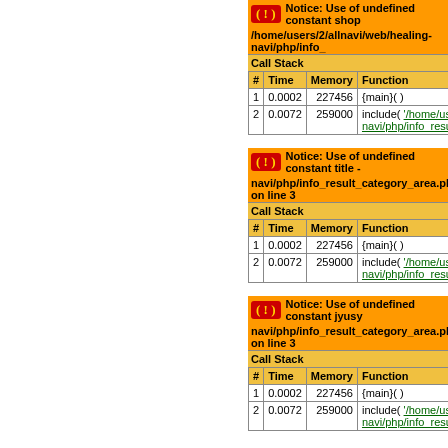[Figure (screenshot): PHP error notice: Use of undefined constant shop... with file path /home/users/2/allnavi/web/healing-navi/php/info_... and a Call Stack table with columns #, Time, Memory, Function showing two rows of execution trace.]
[Figure (screenshot): PHP error notice: Use of undefined constant title - with file path navi/php/info_result_category_area.php on line 3 and a Call Stack table.]
[Figure (screenshot): PHP error notice: Use of undefined constant jyusy with file path navi/php/info_result_category_area.php on line 3 and a Call Stack table.]
[Figure (screenshot): PHP error notice: Use of undefined constant url - with file path navi/php/info_result_category_area.php on line 3 and a partial Call Stack table header.]